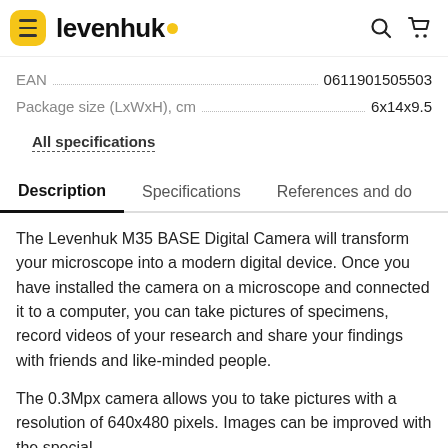levenhuk (logo with hamburger menu, search, and cart icons)
EAN 0611901505503
Package size (LxWxH), cm 6x14x9.5
All specifications
Description | Specifications | References and do
The Levenhuk M35 BASE Digital Camera will transform your microscope into a modern digital device. Once you have installed the camera on a microscope and connected it to a computer, you can take pictures of specimens, record videos of your research and share your findings with friends and like-minded people.
The 0.3Mpx camera allows you to take pictures with a resolution of 640x480 pixels. Images can be improved with the special